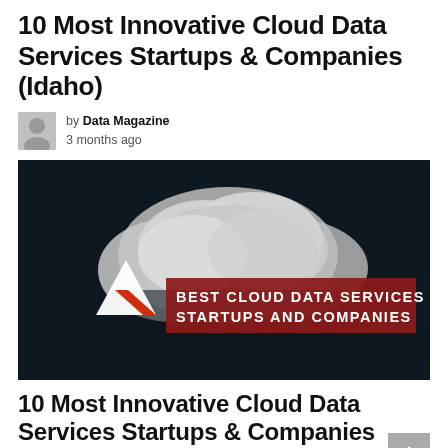10 Most Innovative Cloud Data Services Startups & Companies (Idaho)
by Data Magazine
3 months ago
[Figure (photo): Dark background with cloud imagery. A logo with white triangle and red slash. Red banner with white bold text reading 'BEST CLOUD DATA SERVICES STARTUPS AND COMPANIES'.]
10 Most Innovative Cloud Data Services Startups & Companies (Redwood City)